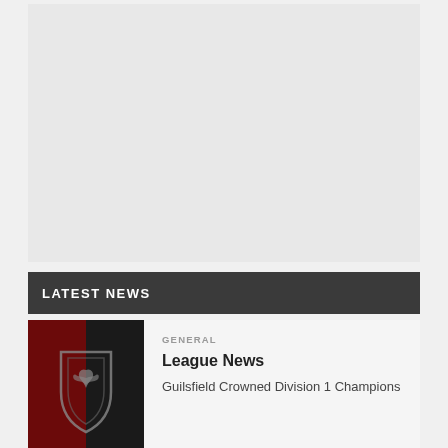[Figure (other): Large light grey placeholder image area at the top of the page]
LATEST NEWS
[Figure (logo): Sports team crest/shield logo with a phoenix or bird emblem, dark red and black background]
GENERAL
League News
Guilsfield Crowned Division 1 Champions